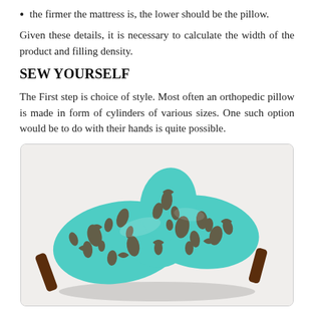the firmer the mattress is, the lower should be the pillow.
Given these details, it is necessary to calculate the width of the product and filling density.
SEW YOURSELF
The First step is choice of style. Most often an orthopedic pillow is made in form of cylinders of various sizes. One such option would be to do with their hands is quite possible.
[Figure (photo): An orthopedic pillow shaped in a butterfly or cervical roll form, covered with teal/turquoise and brown damask patterned fabric, with brown leather strap handles, displayed on a white background.]